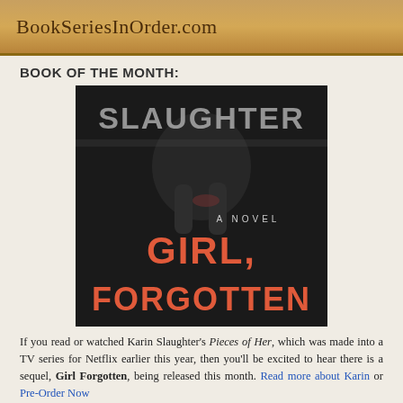BookSeriesInOrder.com
BOOK OF THE MONTH:
[Figure (photo): Book cover of 'Girl, Forgotten' by Karin Slaughter — dark background with large text reading SLAUGHTER at top, GIRL, FORGOTTEN in orange/red at bottom, and A NOVEL in smaller text in the middle. A figure with hands is visible in the background.]
If you read or watched Karin Slaughter's Pieces of Her, which was made into a TV series for Netflix earlier this year, then you'll be excited to hear there is a sequel, Girl Forgotten, being released this month. Read more about Karin or Pre-Order Now
DONATIONS/AUG CHARITIES
I often get asked by readers if they can donate to the site as a thank you for all